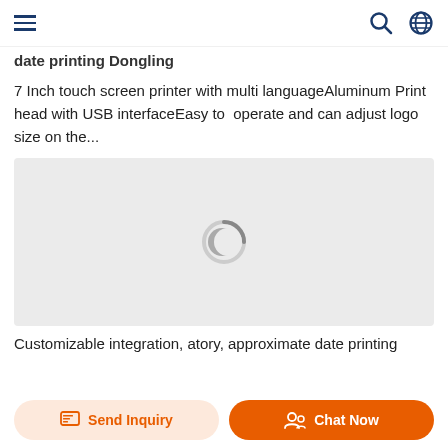Navigation bar with hamburger menu, search icon, and globe icon
date printing Dongling
7 Inch touch screen printer with multi languageAluminum Print head with USB interfaceEasy to  operate and can adjust logo size on the...
[Figure (photo): Loading spinner / image placeholder area with a circular loading indicator on a light gray background]
Customizable integration,atory, approximate date printing
Send Inquiry
Chat Now